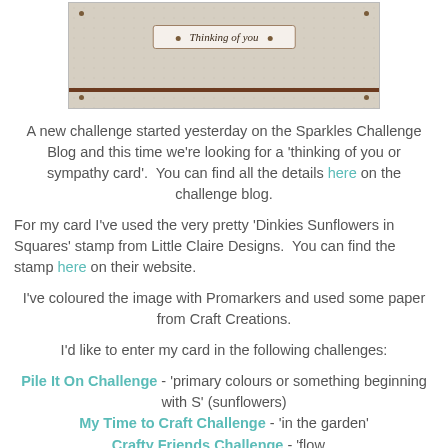[Figure (photo): A crafted 'Thinking of you' card with beige/tan dotty paper, a cream label with text 'Thinking of you', dark brown brads in corners, and a dark brown horizontal stripe near the bottom.]
A new challenge started yesterday on the Sparkles Challenge Blog and this time we're looking for a 'thinking of you or sympathy card'.  You can find all the details here on the challenge blog.
For my card I've used the very pretty 'Dinkies Sunflowers in Squares' stamp from Little Claire Designs.  You can find the stamp here on their website.
I've coloured the image with Promarkers and used some paper from Craft Creations.
I'd like to enter my card in the following challenges:
Pile It On Challenge - 'primary colours or something beginning with S' (sunflowers)
My Time to Craft Challenge - 'in the garden'
Crafty Friends Challenge - 'flowers'